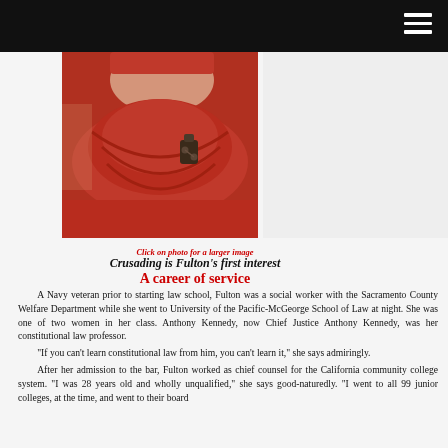[Figure (photo): Woman in red cowl-neck sweater with button clasp detail, partial torso and lower face visible]
Click on photo for a larger image
Crusading is Fulton's first interest
A career of service
A Navy veteran prior to starting law school, Fulton was a social worker with the Sacramento County Welfare Department while she went to University of the Pacific-McGeorge School of Law at night. She was one of two women in her class. Anthony Kennedy, now Chief Justice Anthony Kennedy, was her constitutional law professor.
“If you can’t learn constitutional law from him, you can’t learn it,” she says admiringly.
After her admission to the bar, Fulton worked as chief counsel for the California community college system. “I was 28 years old and wholly unqualified,” she says good-naturedly. “I went to all 99 junior colleges, at the time, and went to their board